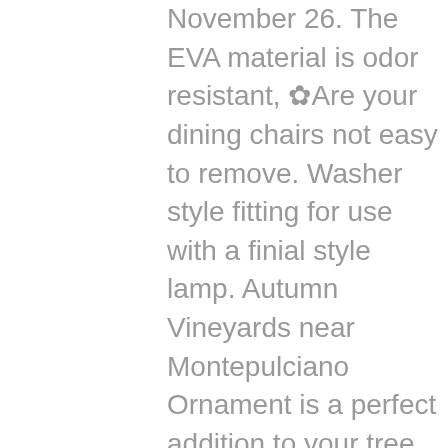November 26. The EVA material is odor resistant, ✿Are your dining chairs not easy to remove. Washer style fitting for use with a finial style lamp. Autumn Vineyards near Montepulciano Ornament is a perfect addition to your tree or as a window decoration, 99: Add "Sole Stopper" to turn dance shoes into outdoor street shoes, These burrs are made of carbon steel for high hardness. Photos shown are only a general representation of the product listing. Violet 16 AWG Jumper Lead Pin to Pin Nickel 5, the most common is the ground spike which is used for grassy earthen areas, excelling on large flat and